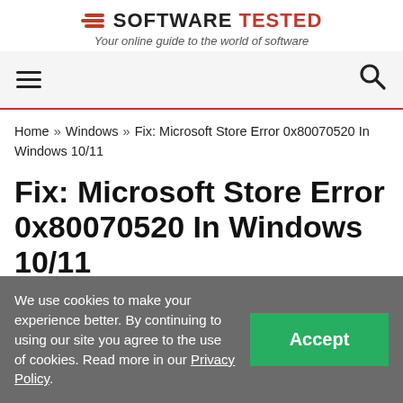SOFTWARE TESTED — Your online guide to the world of software
[Figure (screenshot): Navigation bar with hamburger menu icon on the left and search (magnifying glass) icon on the right, on a light grey background with a red bottom border]
Home » Windows » Fix: Microsoft Store Error 0x80070520 In Windows 10/11
Fix: Microsoft Store Error 0x80070520 In Windows 10/11
PC REPAIR   WINDOWS   2 years ago
We use cookies to make your experience better. By continuing to using our site you agree to the use of cookies. Read more in our Privacy Policy.